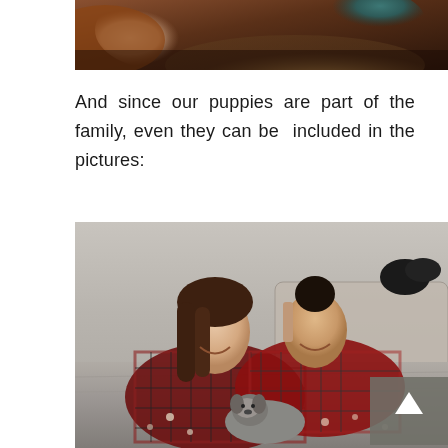[Figure (photo): Partial top photo showing hands and hair of two people, cropped at top]
And since our puppies are part of the family, even they can be included in the pictures:
[Figure (photo): Two women in matching red plaid pajamas lying on a bed smiling down at a small dog between them. A back-to-top arrow button is visible in the lower right corner of the image.]